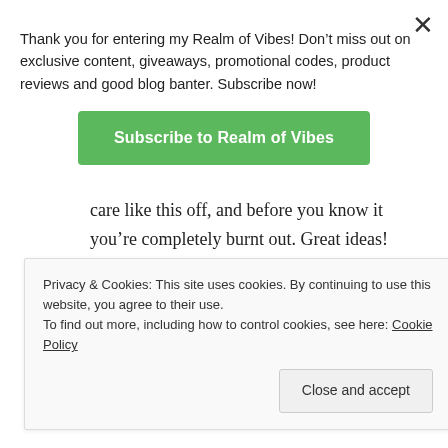Thank you for entering my Realm of Vibes! Don't miss out on exclusive content, giveaways, promotional codes, product reviews and good blog banter. Subscribe now!
Subscribe to Realm of Vibes
care like this off, and before you know it you're completely burnt out. Great ideas!
★ Liked by 1 person
REPLY
Privacy & Cookies: This site uses cookies. By continuing to use this website, you agree to their use.
To find out more, including how to control cookies, see here: Cookie Policy
Close and accept